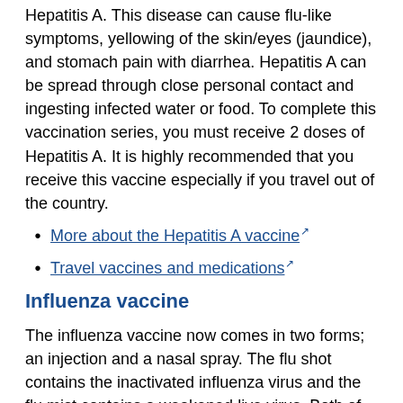Hepatitis A. This disease can cause flu-like symptoms, yellowing of the skin/eyes (jaundice), and stomach pain with diarrhea. Hepatitis A can be spread through close personal contact and ingesting infected water or food. To complete this vaccination series, you must receive 2 doses of Hepatitis A. It is highly recommended that you receive this vaccine especially if you travel out of the country.
More about the Hepatitis A vaccine (link)
Travel vaccines and medications (link)
Influenza vaccine
The influenza vaccine now comes in two forms; an injection and a nasal spray. The flu shot contains the inactivated influenza virus and the flu mist contains a weakened live virus. Both of these vaccines cause your body to create antibodies that fight against certain flu viruses. Although these vaccines are very effective, they are not 100% in protecting against the flu.